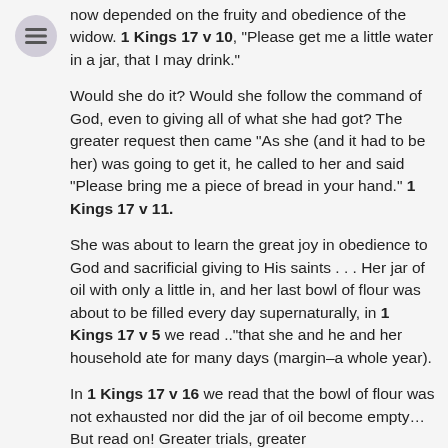[Figure (other): Menu/hamburger icon circle with three horizontal lines]
now depended on the fruity and obedience of the widow. 1 Kings 17 v 10, "Please get me a little water in a jar, that I may drink."
Would she do it?  Would she follow the command of God, even to giving all of what she had got?  The greater request then came "As she (and it had to be her) was going to get it, he called to her and said "Please bring me a piece of bread in your hand."  1 Kings 17 v 11.
She was about to learn the great joy in obedience to God and sacrificial giving to His saints . . . Her jar of oil with only a little in, and her last bowl of flour was about to be filled every day supernaturally, in 1 Kings 17 v 5 we read .."that she and he and her household ate for many days (margin–a whole year).
In 1 Kings 17 v 16 we read that the bowl of flour was not exhausted nor did the jar of oil become empty… But read on!  Greater trials, greater